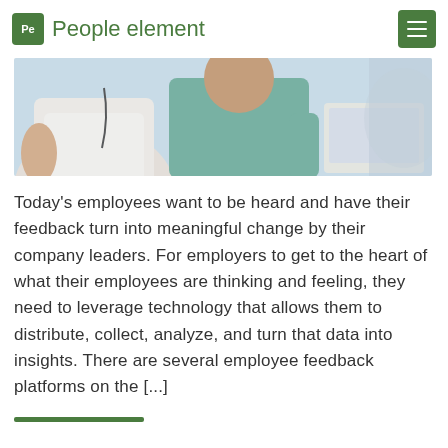Pe People element
[Figure (photo): Two people working together at a desk with a laptop, cropped close showing their torsos and arms]
Today’s employees want to be heard and have their feedback turn into meaningful change by their company leaders. For employers to get to the heart of what their employees are thinking and feeling, they need to leverage technology that allows them to distribute, collect, analyze, and turn that data into insights. There are several employee feedback platforms on the [...]